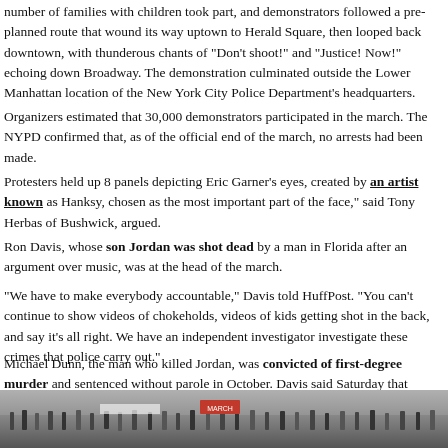number of families with children took part, and demonstrators followed a pre-planned route that wound its way uptown to Herald Square, then looped back downtown, with thunderous chants of "Don't shoot!" and "Justice! Now!" echoing down Broadway. The demonstration culminated outside the Lower Manhattan location of the New York City Police Department's headquarters.
Organizers estimated that 30,000 demonstrators participated in the march. The NYPD confirmed that, as of the official end of the march, no arrests had been made.
Protesters held up 8 panels depicting Eric Garner's eyes, created by an artist known as Hanksy, chosen as the most important part of the face," said Tony Herbas of Bushwick, an organizer.
Ron Davis, whose son Jordan was shot dead by a man in Florida after an argument over music, was at the head of the march.
"We have to make everybody accountable," Davis told HuffPost. "You can't continue to show videos of chokeholds, videos of kids getting shot in the back, and say it's all right. We have to have an independent investigator investigate these crimes that police carry out."
Michael Dunn, the man who killed Jordan, was convicted of first-degree murder and sentenced without parole in October. Davis said Saturday that Dunn's conviction proves it's possible to get justice in racially charged cases.
"We ended up getting a historic movement in Jacksonville," Davis said. "We had a jury that was six or seven white men, convict a white man for shooting down an unarmed boy of colo
[Figure (photo): A crowd of protesters at the march, photograph showing the demonstration scene.]